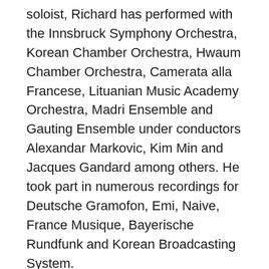soloist, Richard has performed with the Innsbruck Symphony Orchestra, Korean Chamber Orchestra, Hwaum Chamber Orchestra, Camerata alla Francese, Lituanian Music Academy Orchestra, Madri Ensemble and Gauting Ensemble under conductors Alexandar Markovic, Kim Min and Jacques Gandard among others. He took part in numerous recordings for Deutsche Gramofon, Emi, Naive, France Musique, Bayerische Rundfunk and Korean Broadcasting System.
After being a member of the Bavarian Radio Symphony Orchestra Academy, Erwan Richard played as Sub-Principal Violist with the Philharmonia Orchestra in London before becoming first Principal Violist of the Innsbruck Symphony Orchestra. He has also appeared with major European orchestras including Chamber Orchestra of Europe, Mahler Chamber Orchestra, Orchestre National de France, Bavarian State Opera, among others. On many occasions he has played with